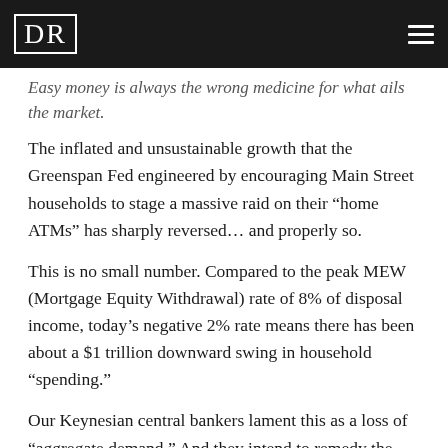DR [logo] | [hamburger menu]
Easy money is always the wrong medicine for what ails the market.
The inflated and unsustainable growth that the Greenspan Fed engineered by encouraging Main Street households to stage a massive raid on their “home ATMs” has sharply reversed… and properly so.
This is no small number. Compared to the peak MEW (Mortgage Equity Withdrawal) rate of 8% of disposal income, today’s negative 2% rate means there has been about a $1 trillion downward swing in household “spending.”
Our Keynesian central bankers lament this as a loss of “aggregate demand.” And they intend to remedy the